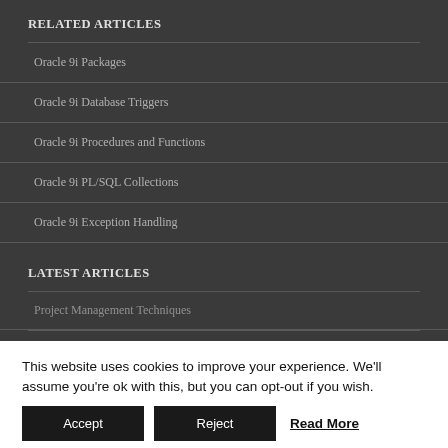RELATED ARTICLES
Oracle 9i Packages
Oracle 9i Database Triggers
Oracle 9i Procedures and Functions
Oracle 9i PL/SQL Collections
Oracle 9i Exception Handling
LATEST ARTICLES
Project Management Techniques
This website uses cookies to improve your experience. We'll assume you're ok with this, but you can opt-out if you wish.
Accept  Reject  Read More